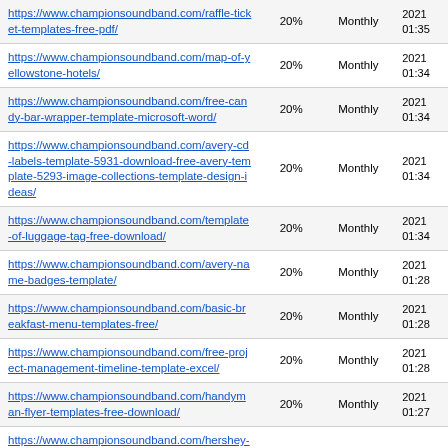| URL | Something | Frequency | Date |
| --- | --- | --- | --- |
| https://www.championsoundband.com/raffle-ticket-templates-free-pdf/ | 20% | Monthly | 2021 01:35 |
| https://www.championsoundband.com/map-of-yellowstone-hotels/ | 20% | Monthly | 2021 01:34 |
| https://www.championsoundband.com/free-candy-bar-wrapper-template-microsoft-word/ | 20% | Monthly | 2021 01:34 |
| https://www.championsoundband.com/avery-cd-labels-template-5931-download-free-avery-template-5293-image-collections-template-design-ideas/ | 20% | Monthly | 2021 01:34 |
| https://www.championsoundband.com/template-of-luggage-tag-free-download/ | 20% | Monthly | 2021 01:34 |
| https://www.championsoundband.com/avery-name-badges-template/ | 20% | Monthly | 2021 01:28 |
| https://www.championsoundband.com/basic-breakfast-menu-templates-free/ | 20% | Monthly | 2021 01:28 |
| https://www.championsoundband.com/free-project-management-timeline-template-excel/ | 20% | Monthly | 2021 01:28 |
| https://www.championsoundband.com/handyman-flyer-templates-free-download/ | 20% | Monthly | 2021 01:27 |
| https://www.championsoundband.com/hershey-bar-wrapper-template-word-cakepins-disenos-varios-within-candy-bar-wrapper-template-for-word/ | 20% | Monthly | 2021 01:27 |
| https://www.championsoundband.com/dietitian-website-templates-free-download/ | 20% | Monthly | 2021 01:18 |
| https://www.championsoundband.com/hipaa-non-... | 20% | Monthly | 2021 01:... |